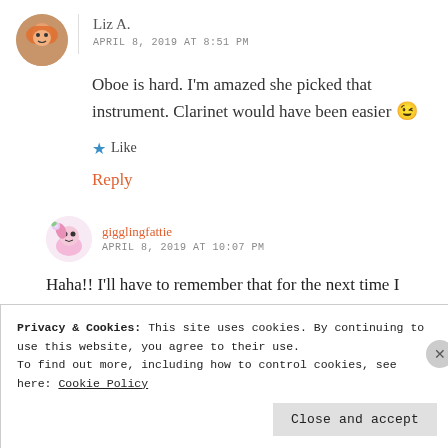[Figure (illustration): Circular avatar photo of Liz A. showing a person with orange face paint]
Liz A.
APRIL 8, 2019 AT 8:51 PM
Oboe is hard. I'm amazed she picked that instrument. Clarinet would have been easier 😉
★ Like
Reply
[Figure (illustration): Circular avatar of gigglingfattie showing a cartoon animal with flowers]
gigglingfattie
APRIL 8, 2019 AT 10:07 PM
Haha!! I'll have to remember that for the next time I write a music themed story
Privacy & Cookies: This site uses cookies. By continuing to use this website, you agree to their use.
To find out more, including how to control cookies, see here: Cookie Policy
Close and accept